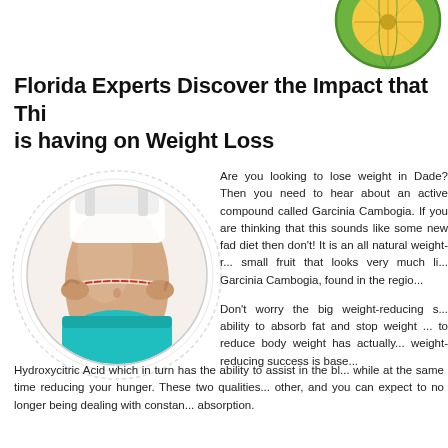[Figure (illustration): Garcinia Cambogia fruit cut in half, green exterior with yellow/orange interior flesh, partially cropped at top of page]
Florida Experts Discover the Impact that This is having on Weight Loss
[Figure (photo): Circular cropped photo of a woman measuring her waist with a tape measure, wearing a white sports bra and teal/cyan shorts, on a light grey circular background with concentric ring design]
Are you looking to lose weight in Dade? Then you need to hear about an active compound called Garcinia Cambogia. If you are thinking that this sounds like some new fad diet then don't! It is an all natural weight-reducing agent, a small fruit that looks very much like a pumpkin called Garcinia Cambogia, found in the region.
Don't worry the big weight-reducing secret is its ability to absorb fat and stop weight gain. Its ability to reduce body weight has actually been researched. Its weight-reducing success is based on its content of Hydroxycitric Acid which in turn has the ability to assist in the blocking of fat, while at the same time reducing your hunger. These two qualities work off of each other, and you can expect to no longer being dealing with constant fat absorption.